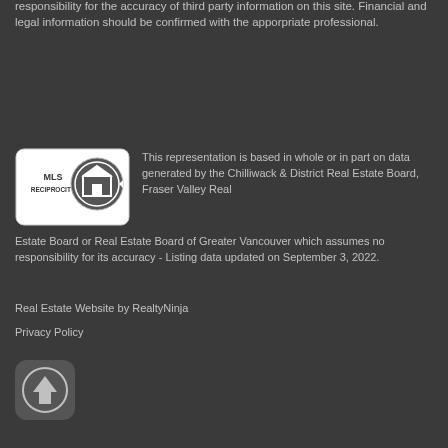responsibility for the accuracy of third party information on this site. Financial and legal information should be confirmed with the apporpriate professional.
[Figure (logo): MLS Reciprocity logo — circular house icon with 'MLS RECIPROCITY' text]
This representation is based in whole or in part on data generated by the Chilliwack & District Real Estate Board, Fraser Valley Real Estate Board or Real Estate Board of Greater Vancouver which assumes no responsibility for its accuracy - Listing data updated on September 3, 2022.
Real Estate Website by RealtyNinja
Privacy Policy
[Figure (illustration): Dark rounded square button with upward arrow icon]